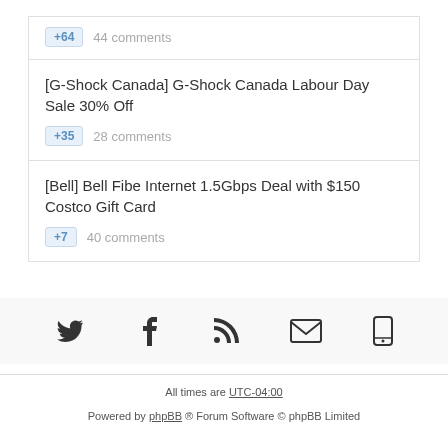+64  44 comments
[G-Shock Canada] G-Shock Canada Labour Day Sale 30% Off
+35  28 comments
[Bell] Bell Fibe Internet 1.5Gbps Deal with $150 Costco Gift Card
+7  40 comments
[Figure (infographic): Social media icons: Twitter, Facebook, RSS feed, Email, Mobile]
All times are UTC-04:00
Powered by phpBB ® Forum Software © phpBB Limited